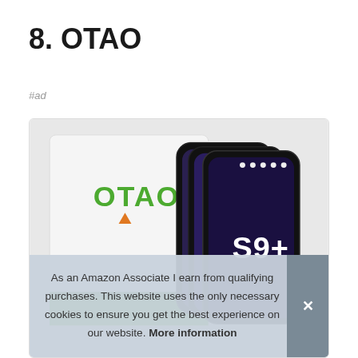8. OTAO
#ad
[Figure (photo): Product photo of OTAO brand screen protectors for Samsung Galaxy S9+, showing multiple tempered glass protectors stacked next to their retail box with the OTAO logo and orange triangle symbol]
As an Amazon Associate I earn from qualifying purchases. This website uses the only necessary cookies to ensure you get the best experience on our website. More information